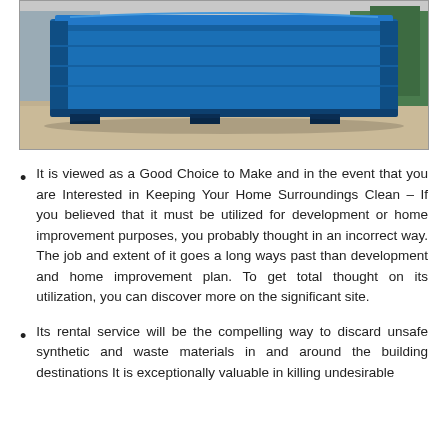[Figure (photo): A large blue industrial dumpster/roll-off container sitting on a sandy/gravel surface outdoors, with trees visible in the background.]
It is viewed as a Good Choice to Make and in the event that you are Interested in Keeping Your Home Surroundings Clean – If you believed that it must be utilized for development or home improvement purposes, you probably thought in an incorrect way. The job and extent of it goes a long ways past than development and home improvement plan. To get total thought on its utilization, you can discover more on the significant site.
Its rental service will be the compelling way to discard unsafe synthetic and waste materials in and around the building destinations It is exceptionally valuable in killing undesirable